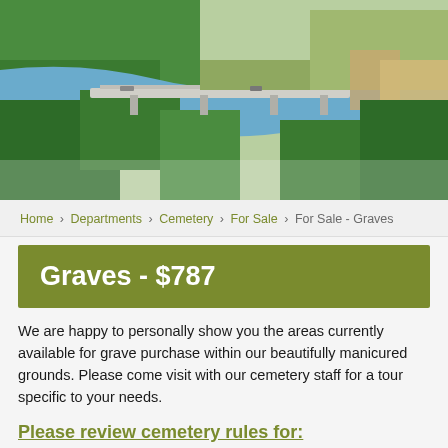[Figure (photo): Aerial photograph of a town with a river, highway bridge, green trees, and buildings]
Home › Departments › Cemetery › For Sale › For Sale - Graves
Graves - $787
We are happy to personally show you the areas currently available for grave purchase within our beautifully manicured grounds. Please come visit with our cemetery staff for a tour specific to your needs.
Please review cemetery rules for: Purchases / Assignments (PDF)